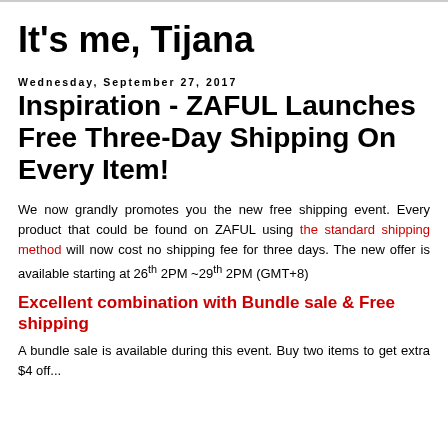It's me, Tijana
Wednesday, September 27, 2017
Inspiration - ZAFUL Launches Free Three-Day Shipping On Every Item!
We now grandly promotes you the new free shipping event. Every product that could be found on ZAFUL using the standard shipping method will now cost no shipping fee for three days. The new offer is available starting at 26th 2PM ~29th 2PM (GMT+8)
Excellent combination with Bundle sale & Free shipping
A bundle sale is available during this event. Buy two items to get extra $4 off...